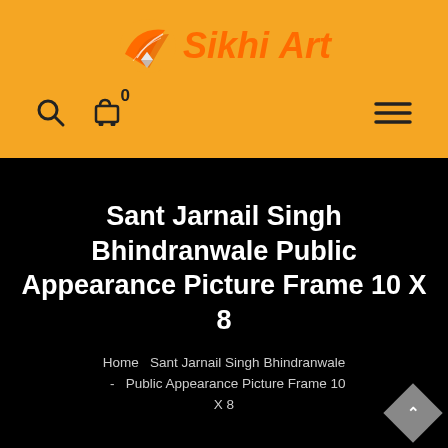[Figure (logo): Sikhi Art logo with orange bird/wing icon and bold stylized text 'Sikhi Art' in dark color on orange background]
[Figure (infographic): Navigation bar with search icon, shopping cart icon with badge showing 0, and hamburger menu icon (three horizontal lines)]
Sant Jarnail Singh Bhindranwale Public Appearance Picture Frame 10 X 8
Home  Sant Jarnail Singh Bhindranwale - Public Appearance Picture Frame 10 X 8